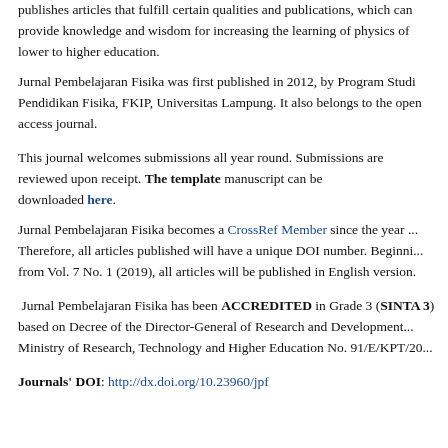publishes articles that fulfill certain qualities and publications, which can provide knowledge and wisdom for increasing the learning of physics of lower to higher education.
Jurnal Pembelajaran Fisika was first published in 2012, by Program Studi Pendidikan Fisika, FKIP, Universitas Lampung. It also belongs to the open access journal.
This journal welcomes submissions all year round. Submissions are reviewed upon receipt. The template manuscript can be downloaded here.
Jurnal Pembelajaran Fisika becomes a CrossRef Member since the year ... Therefore, all articles published will have a unique DOI number. Beginning from Vol. 7 No. 1 (2019), all articles will be published in English version.
Jurnal Pembelajaran Fisika has been ACCREDITED in Grade 3 (SINTA 3) based on Decree of the Director-General of Research and Development, Ministry of Research, Technology and Higher Education No. 91/E/KPT/20...
Journals' DOI: http://dx.doi.org/10.23960/jpf